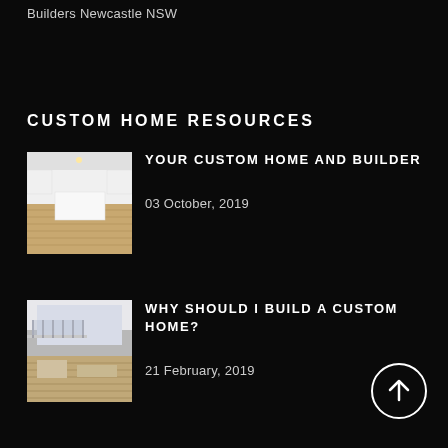Builders Newcastle NSW
CUSTOM HOME RESOURCES
[Figure (photo): Interior photo of a modern white kitchen with timber floors and island bench]
YOUR CUSTOM HOME AND BUILDER
03 October, 2019
[Figure (photo): Interior photo of a modern home with glass staircase railing and open plan living]
WHY SHOULD I BUILD A CUSTOM HOME?
21 February, 2019
[Figure (illustration): Circular up arrow navigation button]